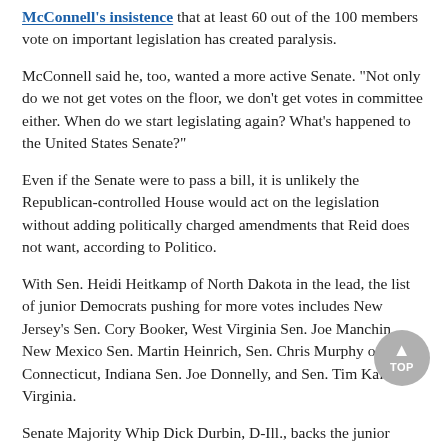McConnell's insistence that at least 60 out of the 100 members vote on important legislation has created paralysis.
McConnell said he, too, wanted a more active Senate. "Not only do we not get votes on the floor, we don't get votes in committee either. When do we start legislating again? What's happened to the United States Senate?"
Even if the Senate were to pass a bill, it is unlikely the Republican-controlled House would act on the legislation without adding politically charged amendments that Reid does not want, according to Politico.
With Sen. Heidi Heitkamp of North Dakota in the lead, the list of junior Democrats pushing for more votes includes New Jersey's Sen. Cory Booker, West Virginia Sen. Joe Manchin, New Mexico Sen. Martin Heinrich, Sen. Chris Murphy of Connecticut, Indiana Sen. Joe Donnelly, and Sen. Tim Kaine of Virginia.
Senate Majority Whip Dick Durbin, D-Ill., backs the junior members' call. "I think we need to go back to a proving process here. … I want to get us back to the days with amendments and debate."